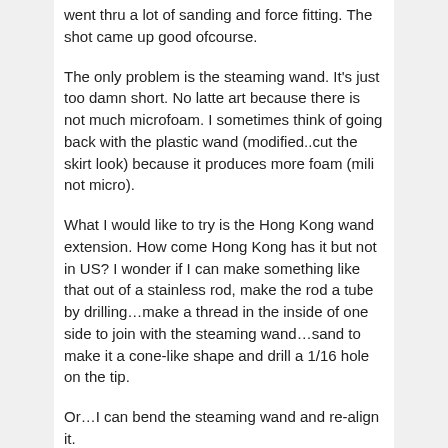went thru a lot of sanding and force fitting. The shot came up good ofcourse.
The only problem is the steaming wand. It's just too damn short. No latte art because there is not much microfoam. I sometimes think of going back with the plastic wand (modified..cut the skirt look) because it produces more foam (mili not micro).
What I would like to try is the Hong Kong wand extension. How come Hong Kong has it but not in US? I wonder if I can make something like that out of a stainless rod, make the rod a tube by drilling…make a thread in the inside of one side to join with the steaming wand…sand to make it a cone-like shape and drill a 1/16 hole on the tip.
Or…I can bend the steaming wand and re-align it.
Reply